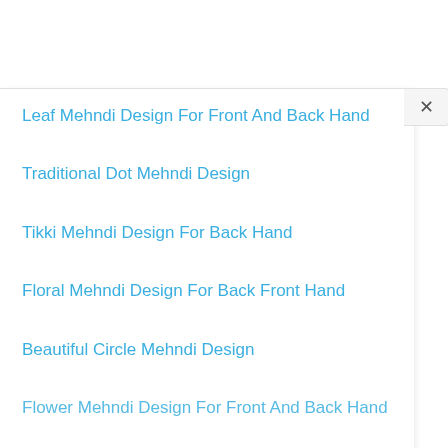Leaf Mehndi Design For Front And Back Hand
Traditional Dot Mehndi Design
Tikki Mehndi Design For Back Hand
Floral Mehndi Design For Back Front Hand
Beautiful Circle Mehndi Design
Flower Mehndi Design For Front And Back Hand